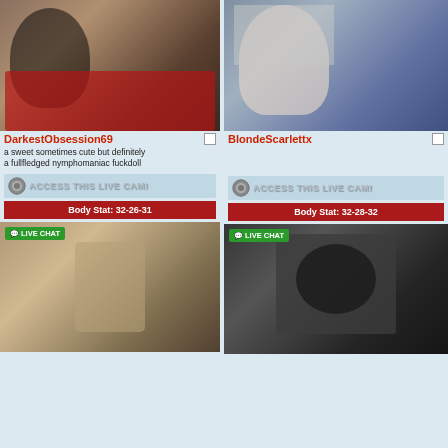[Figure (photo): Blonde woman in black Rolling Stones t-shirt taking mirror selfie]
DarkestObsession69
a sweet sometimes cute but definitely a fullfledged nymphomaniac fuckdoll
[Figure (photo): ACCESS THIS LIVE CAM! button with camera icon]
Body Stat: 32-26-31
[Figure (photo): Blonde woman in bikini taking mirror selfie in bedroom with LIVE CHAT badge]
[Figure (photo): Blonde woman with tattoos in lace outfit]
BlondeScarlettx
[Figure (photo): ACCESS THIS LIVE CAM! button with camera icon]
Body Stat: 32-28-32
[Figure (photo): Dark haired woman in black bikini top with crystal chain necklace with LIVE CHAT badge]